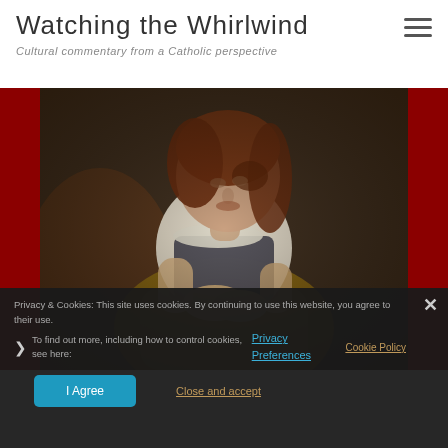Watching the Whirlwind
Cultural commentary from a Catholic perspective
[Figure (photo): Caravaggio-style painting of a young woman with reddish-brown hair, wearing a white blouse and dark bodice, looking downward with hands clasped, seated against a dark background]
Privacy & Cookies: This site uses cookies. By continuing to use this website, you agree to their use.
To find out more, including how to control cookies, see here:
Privacy Preferences
Cookie Policy
I Agree
Close and accept